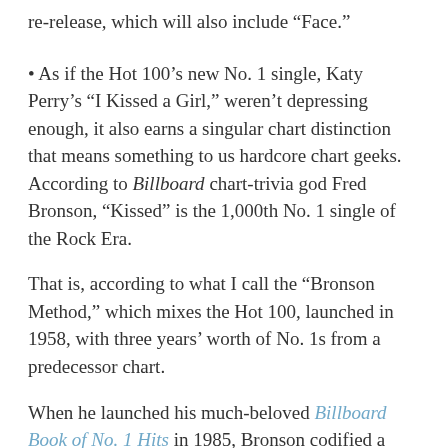re-release, which will also include “Face.”
• As if the Hot 100’s new No. 1 single, Katy Perry’s “I Kissed a Girl,” weren’t depressing enough, it also earns a singular chart distinction that means something to us hardcore chart geeks. According to Billboard chart-trivia god Fred Bronson, “Kissed” is the 1,000th No. 1 single of the Rock Era.
That is, according to what I call the “Bronson Method,” which mixes the Hot 100, launched in 1958, with three years’ worth of No. 1s from a predecessor chart.
When he launched his much-beloved Billboard Book of No. 1 Hits in 1985, Bronson codified a yardstick for measuring the Rock Era that persists to this day–beginning not with the recording of “Rocket 88” or the founding of Sun Records but with the chart